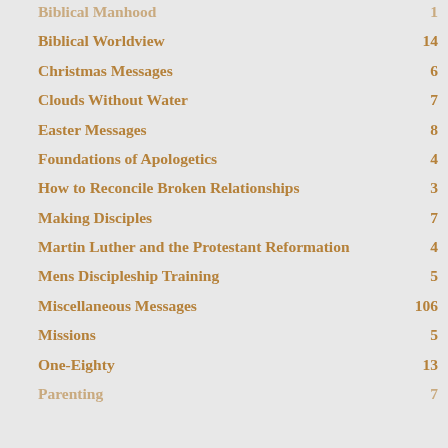Biblical Manhood — 1
Biblical Worldview — 14
Christmas Messages — 6
Clouds Without Water — 7
Easter Messages — 8
Foundations of Apologetics — 4
How to Reconcile Broken Relationships — 3
Making Disciples — 7
Martin Luther and the Protestant Reformation — 4
Mens Discipleship Training — 5
Miscellaneous Messages — 106
Missions — 5
One-Eighty — 13
Parenting — 7